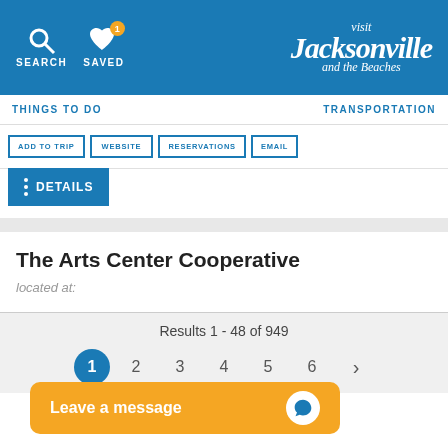Visit Jacksonville and the Beaches — SEARCH | SAVED (1)
THINGS TO DO | TRANSPORTATION
ADD TO TRIP | WEBSITE | RESERVATIONS | EMAIL
DETAILS
The Arts Center Cooperative
located at:
Results 1 - 48 of 949
Pagination: 1 2 3 4 5 6 >
Leave a message